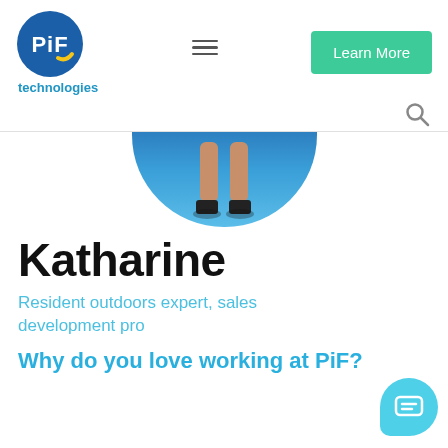PiF technologies — navigation with Learn More button
[Figure (logo): PiF technologies logo: blue circle with white PiF text and yellow swoosh, with 'technologies' text below in blue]
[Figure (photo): Circular cropped photo showing a person's legs and feet in black heels on a blue surface, only bottom half of circle visible]
Katharine
Resident outdoors expert, sales development pro
Why do you love working at PiF?